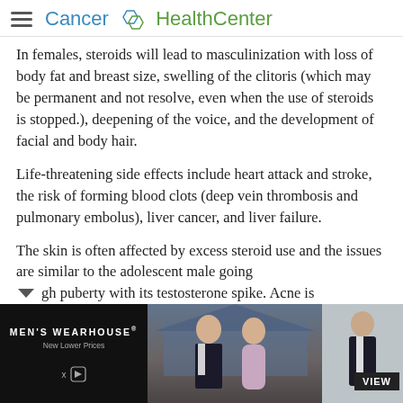Cancer HealthCenter
In females, steroids will lead to masculinization with loss of body fat and breast size, swelling of the clitoris (which may be permanent and not resolve, even when the use of steroids is stopped.), deepening of the voice, and the development of facial and body hair.
Life-threatening side effects include heart attack and stroke, the risk of forming blood clots (deep vein thrombosis and pulmonary embolus), liver cancer, and liver failure.
The skin is often affected by excess steroid use and the issues are similar to the adolescent male going through puberty with its testosterone spike. Acne is
[Figure (photo): Advertisement banner for Men's Wearhouse featuring a couple in formal wear and a single male figure in a suit with a VIEW button]